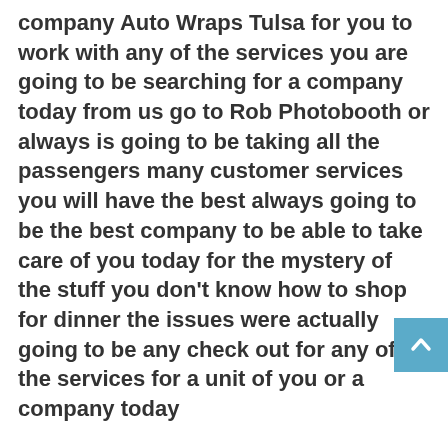company Auto Wraps Tulsa for you to work with any of the services you are going to be searching for a company today from us go to Rob Photobooth or always is going to be taking all the passengers many customer services you will have the best always going to be the best company to be able to take care of you today for the mystery of the stuff you don't know how to shop for dinner the issues were actually going to be any check out for any of the services for a unit of you or a company today
We will be able to take care of it for the most trustworthy over services who are going to be able to offer able to accompany the promotion code above the